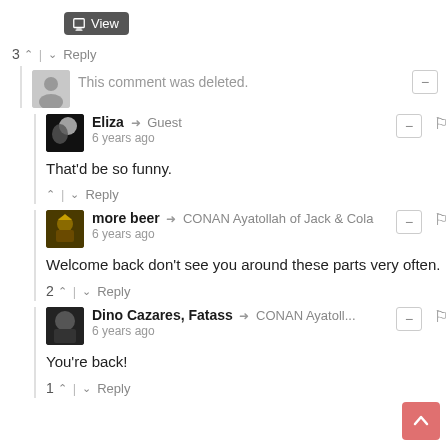[Figure (screenshot): View button with printer icon at top]
3 ↑ | ↓ Reply
This comment was deleted.
Eliza → Guest
6 years ago
That'd be so funny.
↑ | ↓ Reply
more beer → CONAN Ayatollah of Jack & Cola
6 years ago
Welcome back don't see you around these parts very often.
2 ↑ | ↓ Reply
Dino Cazares, Fatass → CONAN Ayatoll...
6 years ago
You're back!
1 ↑ | ↓ Reply